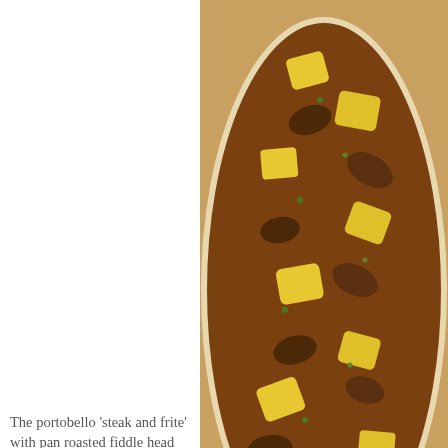[Figure (photo): Overhead photo of a bowl containing mushrooms, yellow gnocchi or potato pieces, and dark brown sauce with green herbs]
The portobello 'steak and frite' with pan roasted fiddle head ferns and red wine
[Figure (photo): Plated dish on a white plate with a piece of portobello mushroom steak, fiddlehead ferns, and red wine butter sauce with grains]
butter sauce was a clever, fun and tasty play on the classic.
Even the dessert course was made using dried